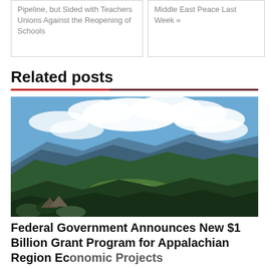Pipeline, but Sided with Teachers Unions Against the Reopening of Schools
Middle East Peace Last Week »
Related posts
[Figure (photo): Aerial landscape view of Appalachian mountains with green forested hills, valleys with small farmland, and blue sky with white clouds]
Federal Government Announces New $1 Billion Grant Program for Appalachian Region Economic Projects